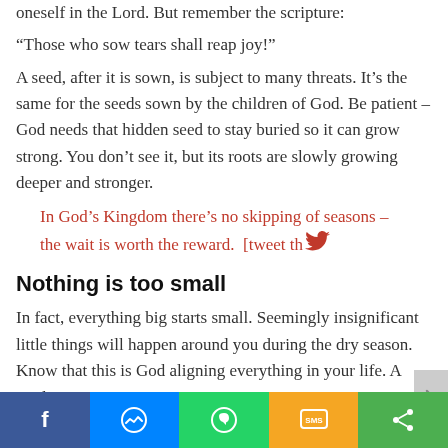oneself in the Lord. But remember the scripture:
“Those who sow tears shall reap joy!”
A seed, after it is sown, is subject to many threats. It’s the same for the seeds sown by the children of God. Be patient – God needs that hidden seed to stay buried so it can grow strong. You don’t see it, but its roots are slowly growing deeper and stronger.
In God’s Kingdom there’s no skipping of seasons – the wait is worth the reward. [tweet this]
Nothing is too small
In fact, everything big starts small. Seemingly insignificant little things will happen around you during the dry season. Know that this is God aligning everything in your life. A seed requires great